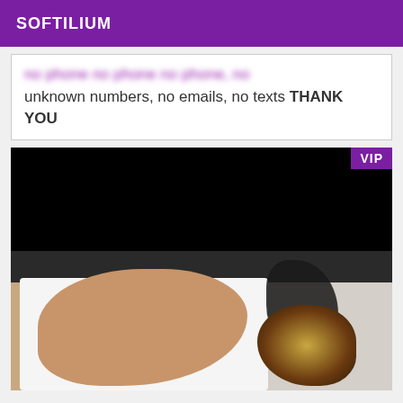SOFTILIUM
unknown numbers, no emails, no texts THANK YOU
[Figure (photo): Photo of a person lying on a bed with white sheets and dark bedframe, wearing black clothing, with blonde/brunette hair. Upper portion of image is blacked out. VIP badge in top right corner.]